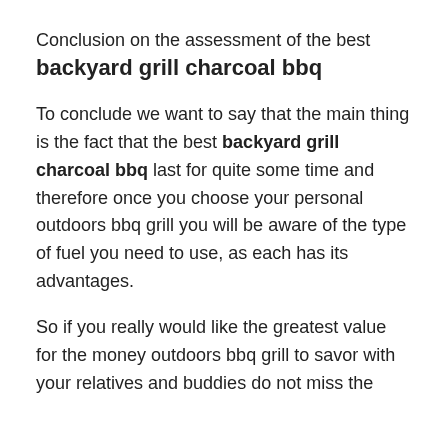Conclusion on the assessment of the best
backyard grill charcoal bbq
To conclude we want to say that the main thing is the fact that the best backyard grill charcoal bbq last for quite some time and therefore once you choose your personal outdoors bbq grill you will be aware of the type of fuel you need to use, as each has its advantages.
So if you really would like the greatest value for the money outdoors bbq grill to savor with your relatives and buddies do not miss the